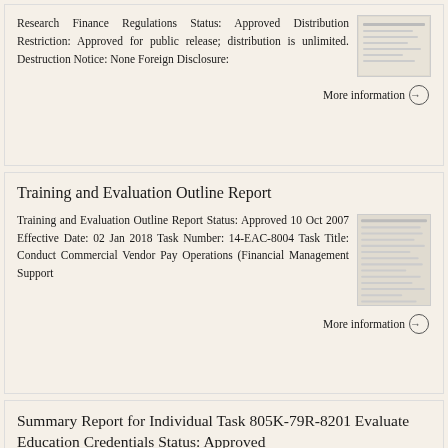Research Finance Regulations Status: Approved Distribution Restriction: Approved for public release; distribution is unlimited. Destruction Notice: None Foreign Disclosure:
More information →
Training and Evaluation Outline Report
Training and Evaluation Outline Report Status: Approved 10 Oct 2007 Effective Date: 02 Jan 2018 Task Number: 14-EAC-8004 Task Title: Conduct Commercial Vendor Pay Operations (Financial Management Support
More information →
Summary Report for Individual Task 805K-79R-8201 Evaluate Education Credentials Status: Approved